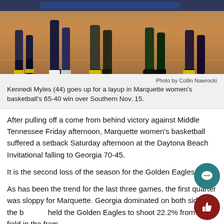[Figure (photo): Basketball players' legs on a hardwood court, showing a women's basketball game in progress]
Photo by Collin Nawrocki
Kennedi Myles (44) goes up for a layup in Marquette women's basketball's 65-40 win over Southern Nov. 15.
After pulling off a come from behind victory against Middle Tennessee Friday afternoon, Marquette women's basketball suffered a setback Saturday afternoon at the Daytona Beach Invitational falling to Georgia 70-45.
It is the second loss of the season for the Golden Eagles.
As has been the trend for the last three games, the first quarter was sloppy for Marquette. Georgia dominated on both sides of the ball and held the Golden Eagles to shoot 22.2% from the field in the frame.
After taking a 15-9 lead into the second quarter, the Lady Bulldogs used a balanced scoring effort and a strong 8-for-13 shooting